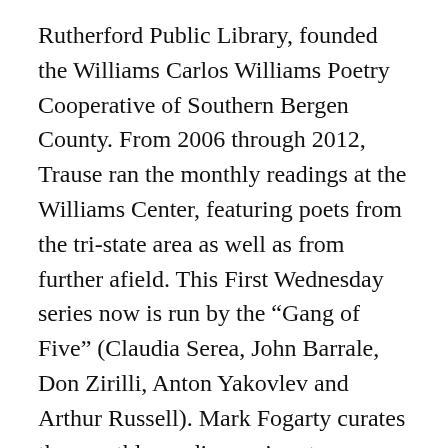Rutherford Public Library, founded the Williams Carlos Williams Poetry Cooperative of Southern Bergen County. From 2006 through 2012, Trause ran the monthly readings at the Williams Center, featuring poets from the tri-state area as well as from further afield. This First Wednesday series now is run by the “Gang of Five” (Claudia Serea, John Barrale, Don Zirilli, Anton Yakovlev and Arthur Russell). Mark Fogarty curates the monthly reading series at GainVille, which started in 2009.
The RWP weekly poetry workshop at the Williams Center, now in its tenth year, is run by Jim Klein, the leader of the Red Wheelbarrow Poets. It is free and open to all local poets every